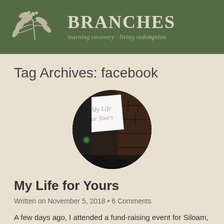BRANCHES – learning recovery · living redemption
Tag Archives: facebook
[Figure (photo): Circular cropped photograph showing a handwritten sign reading 'My Life for Yours' held up in a dimly lit room]
My Life for Yours
Written on November 5, 2018 • 6 Comments
A few days ago, I attended a fund-raising event for Siloam,